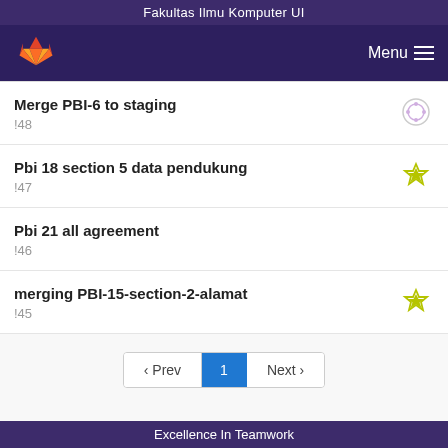Fakultas Ilmu Komputer UI
Merge PBI-6 to staging !48
Pbi 18 section 5 data pendukung !47
Pbi 21 all agreement !46
merging PBI-15-section-2-alamat !45
Excellence In Teamwork